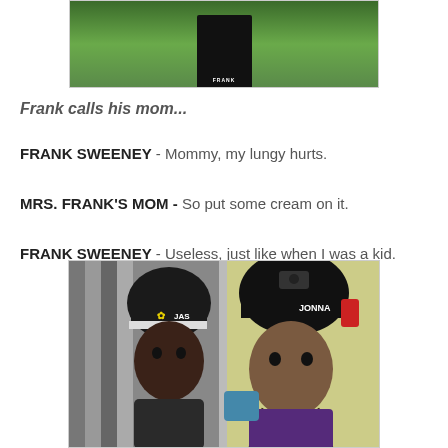[Figure (photo): Photo of a person named Frank in a black outfit standing outdoors with green landscape in background]
Frank calls his mom...
FRANK SWEENEY - Mommy, my lungy hurts.
MRS. FRANK'S MOM - So put some cream on it.
FRANK SWEENEY - Useless, just like when I was a kid.
[Figure (photo): Photo of two people wearing black helmets labeled JAS and JONNA, one with a camera mounted on helmet, looking serious]